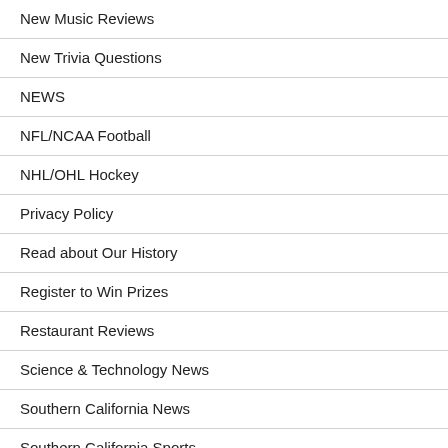New Music Reviews
New Trivia Questions
NEWS
NFL/NCAA Football
NHL/OHL Hockey
Privacy Policy
Read about Our History
Register to Win Prizes
Restaurant Reviews
Science & Technology News
Southern California News
Southern California Sports
SPORTS